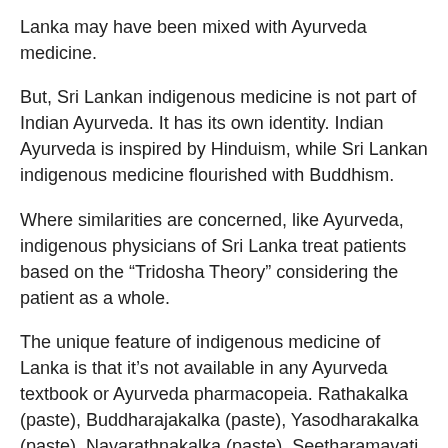Lanka may have been mixed with Ayurveda medicine.
But, Sri Lankan indigenous medicine is not part of Indian Ayurveda. It has its own identity. Indian Ayurveda is inspired by Hinduism, while Sri Lankan indigenous medicine flourished with Buddhism.
Where similarities are concerned, like Ayurveda, indigenous physicians of Sri Lanka treat patients based on the “Tridosha Theory” considering the patient as a whole.
The unique feature of indigenous medicine of Lanka is that it’s not available in any Ayurveda textbook or Ayurveda pharmacopeia. Rathakalka (paste), Buddharajakalka (paste), Yasodharakalka (paste), Navarathnakalka (paste), Seetharamavati (pills), Mattuphaguliya (pills), Chandra kalka (paste), Yashtikalka